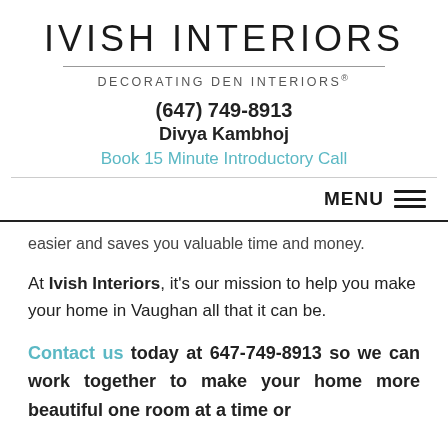IVISH INTERIORS
DECORATING DEN INTERIORS®
(647) 749-8913
Divya Kambhoj
Book 15 Minute Introductory Call
easier and saves you valuable time and money.
At Ivish Interiors, it's our mission to help you make your home in Vaughan all that it can be.
Contact us today at 647-749-8913 so we can work together to make your home more beautiful one room at a time or